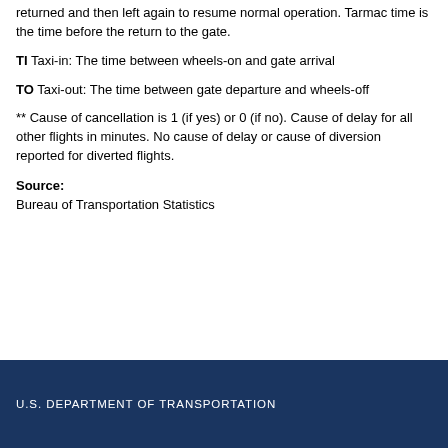returned and then left again to resume normal operation. Tarmac time is the time before the return to the gate.
TI  Taxi-in: The time between wheels-on and gate arrival
TO  Taxi-out: The time between gate departure and wheels-off
** Cause of cancellation is 1 (if yes) or 0 (if no). Cause of delay for all other flights in minutes. No cause of delay or cause of diversion reported for diverted flights.
Source:
Bureau of Transportation Statistics
U.S. DEPARTMENT OF TRANSPORTATION